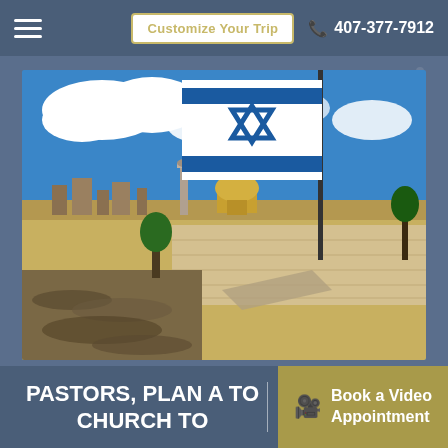Customize Your Trip   407-377-7912
[Figure (photo): Aerial view of Jerusalem's Western Wall plaza crowded with people, the Dome of the Rock with its golden dome visible in the background, and an Israeli flag flying prominently in the foreground against a blue sky with white clouds.]
PASTORS, PLAN A TO... CHURCH TO...
Book a Video Appointment